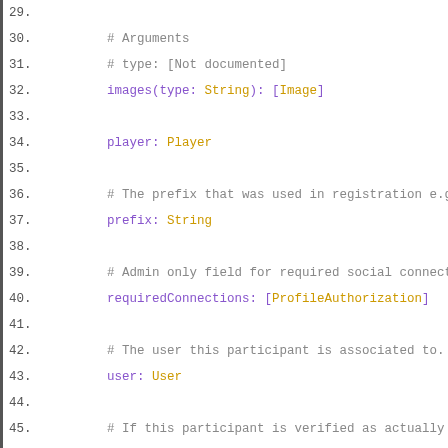Code listing lines 29-47 showing GraphQL schema fields: images(type: String): [Image], player: Player, prefix: String, requiredConnections: [ProfileAuthorization], user: User, verified: Boolean